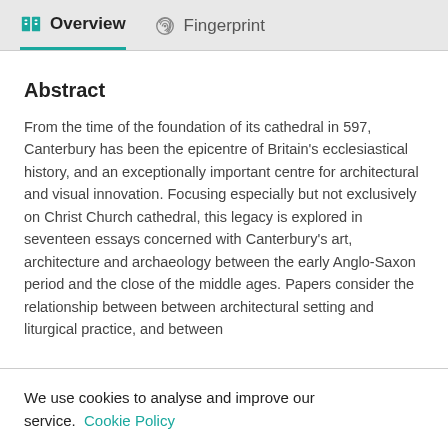Overview  Fingerprint
Abstract
From the time of the foundation of its cathedral in 597, Canterbury has been the epicentre of Britain's ecclesiastical history, and an exceptionally important centre for architectural and visual innovation. Focusing especially but not exclusively on Christ Church cathedral, this legacy is explored in seventeen essays concerned with Canterbury's art, architecture and archaeology between the early Anglo-Saxon period and the close of the middle ages. Papers consider the relationship between between architectural setting and liturgical practice, and between
We use cookies to analyse and improve our service. Cookie Policy